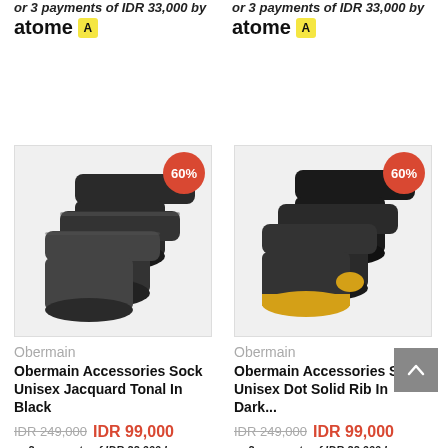or 3 payments of IDR 33,000 by atome [logo] (top-left)
or 3 payments of IDR 33,000 by atome [logo] (top-right)
[Figure (photo): Obermain dark socks bundle with 60% off badge, left product]
Obermain
Obermain Accessories Sock Unisex Jacquard Tonal In Black
IDR 249,000 IDR 99,000
or 3 payments of IDR 33,000 by atome
[Figure (photo): Obermain dark socks bundle with yellow toe/heel detail and 60% off badge, right product]
Obermain
Obermain Accessories Sock Unisex Dot Solid Rib In Dark...
IDR 249,000 IDR 99,000
or 3 payments of IDR 33,000 by atome